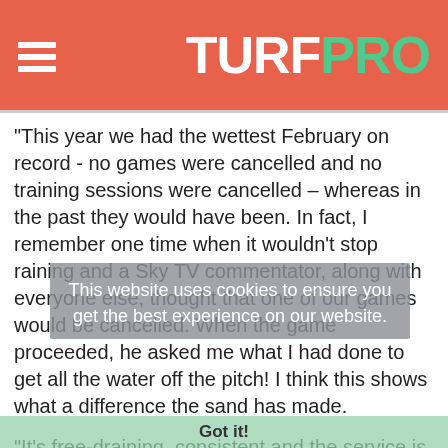TURFPRO
“This year we had the wettest February on record - no games were cancelled and no training sessions were cancelled – whereas in the past they would have been. In fact, I remember one time when it wouldn’t stop raining and a Sky TV commentator, along with everyone else, thought that one of our games would be cancelled. When the game proceeded, he asked me what I had done to get all the water off the pitch! I think this shows what a difference the sand has made.
“It’s free-draining, consistent and the service is always brilliant. Gary Cunningham from Mansfield Sand will come in have a look and I’ll trust him to advise on what I need. After the sand is applied, he will come back in and then we’ll assess the results together. It is great to be able to have that
This website uses cookies to ensure you get the best experience on our website.
Got it!